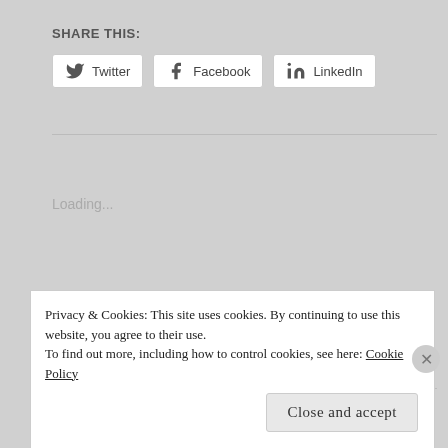SHARE THIS:
[Figure (screenshot): Social share buttons: Twitter, Facebook, LinkedIn]
Loading...
RELATED
Privacy & Cookies: This site uses cookies. By continuing to use this website, you agree to their use.
To find out more, including how to control cookies, see here: Cookie Policy
Close and accept